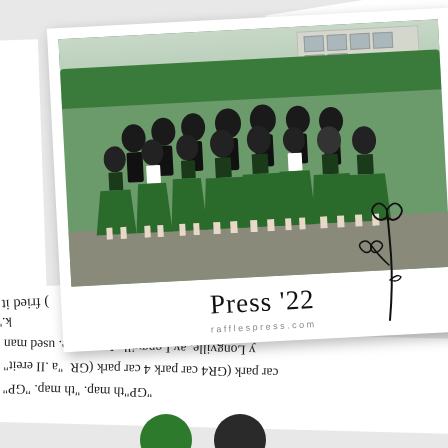[Figure (photo): Polaroid-style photo of a group of students wearing green skirts and face masks posing outdoors, with the handwritten label 'Press '22' beneath the photo and 'rafflespress.com' printed below]
rafflespress.com
[Figure (illustration): Hand-drawn flower illustration with heart-shaped petals on a thin stem]
bridge. There is a southern ba... bridge. Thuridge. There is
y Longville. ay Longville Longville. used man car park (GR4 car park 4 car park (GR "GP"th map. "th map. "GP"